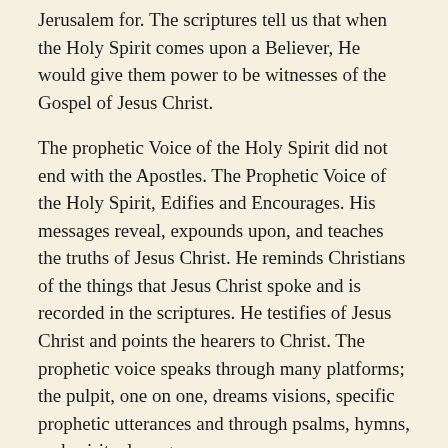Jerusalem for. The scriptures tell us that when the Holy Spirit comes upon a Believer, He would give them power to be witnesses of the Gospel of Jesus Christ.
The prophetic Voice of the Holy Spirit did not end with the Apostles. The Prophetic Voice of the Holy Spirit, Edifies and Encourages. His messages reveal, expounds upon, and teaches the truths of Jesus Christ. He reminds Christians of the things that Jesus Christ spoke and is recorded in the scriptures. He testifies of Jesus Christ and points the hearers to Christ. The prophetic voice speaks through many platforms; the pulpit, one on one, dreams visions, specific prophetic utterances and through psalms, hymns, and spiritual songs.
Reference:  Acts 1:8 Acts 2:14-21 Ephesians 5:17-19